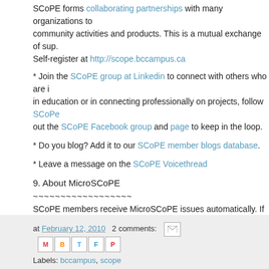SCoPE forms collaborating partnerships with many organizations to community activities and products. This is a mutual exchange of sup. Self-register at http://scope.bccampus.ca
* Join the SCoPE group at Linkedin to connect with others who are in education or in connecting professionally on projects, follow SCoPE out the SCoPE Facebook group and page to keep in the loop.
* Do you blog? Add it to our SCoPE member blogs database.
* Leave a message on the SCoPE Voicethread
9. About MicroSCoPE
~~~~~~~~~~~~~~~~~~
SCoPE members receive MicroSCoPE issues automatically. If you prefer MicroSCoPE on the website or via RSS, login to SCoPE and manage http://scope.bccampus.ca/mod/forum/view.php?f=5
MicroSCoPE is prepared by Sylvia Currie, Community Steward (scu Please spread the word about SCoPE activities. Distribute this news
at February 12, 2010  2 comments:  Labels: bccampus, scope